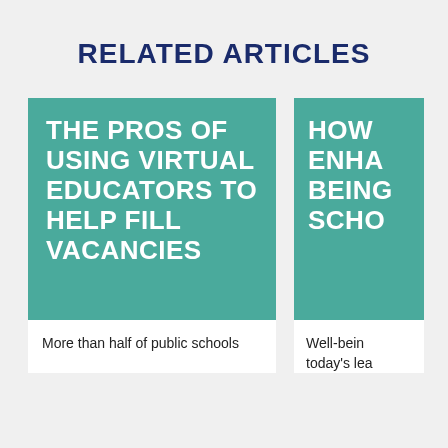RELATED ARTICLES
THE PROS OF USING VIRTUAL EDUCATORS TO HELP FILL VACANCIES
More than half of public schools
HOW ENHA BEING SCHO
Well-being today's lea